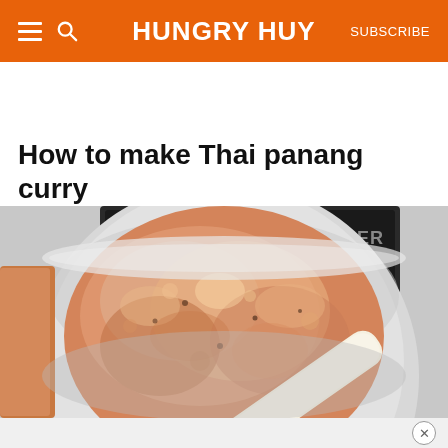HUNGRY HUY | SUBSCRIBE
How to make Thai panang curry
[Figure (photo): Overhead view of a silver pot on an induction cooktop containing simmering orange-brown Thai panang curry sauce being stirred with a wooden spoon. Brand text 'ISILER' visible on the cooktop in the background.]
[Figure (other): Bottom partial view of a dish or bowl with a close (X) button overlay, indicating an advertisement or popup]